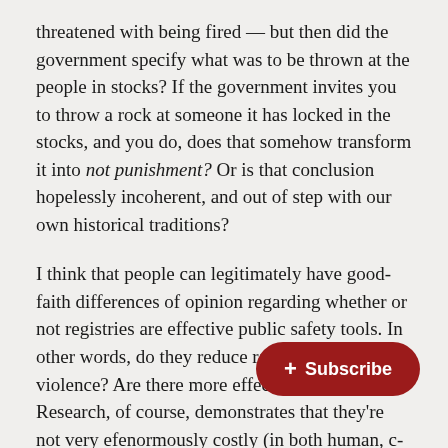threatened with being fired — but then did the government specify what was to be thrown at the people in stocks? If the government invites you to throw a rock at someone it has locked in the stocks, and you do, does that somehow transform it into not punishment? Or is that conclusion hopelessly incoherent, and out of step with our own historical traditions?
I think that people can legitimately have good-faith differences of opinion regarding whether or not registries are effective public safety tools. In other words, do they reduce rates of sexual violence? Are there more effective strategies? Research, of course, demonstrates that they're not very ef[fective and are] enormously costly (in both human, c[ost and] fiscal terms). Scholars much more intelligent than I